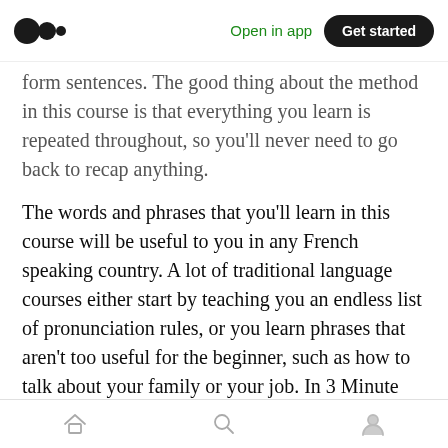Open in app | Get started
form sentences. The good thing about the method in this course is that everything you learn is repeated throughout, so you'll never need to go back to recap anything.
The words and phrases that you'll learn in this course will be useful to you in any French speaking country. A lot of traditional language courses either start by teaching you an endless list of pronunciation rules, or you learn phrases that aren't too useful for the beginner, such as how to talk about your family or your job. In 3 Minute French, you'll learn the most useful
Home | Search | Profile